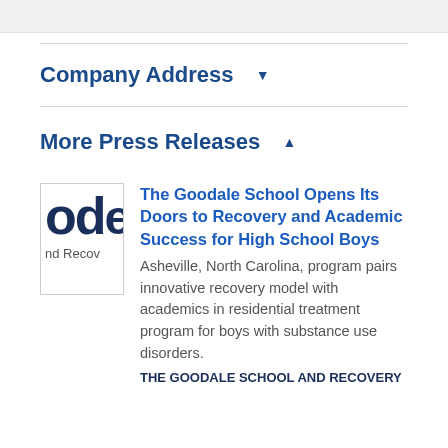Company Address ▼
More Press Releases ▲
[Figure (logo): Partial logo showing 'ode' and 'nd Recov' text in dark navy, black and white cropped logo image]
The Goodale School Opens Its Doors to Recovery and Academic Success for High School Boys
Asheville, North Carolina, program pairs innovative recovery model with academics in residential treatment program for boys with substance use disorders.
THE GOODALE SCHOOL AND RECOVERY